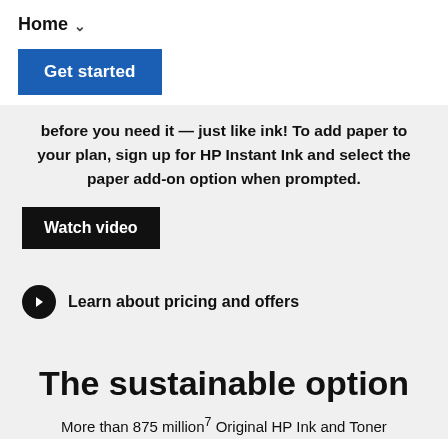Home
[Figure (other): Blue 'Get started' button]
before you need it — just like ink! To add paper to your plan, sign up for HP Instant Ink and select the paper add-on option when prompted.
[Figure (other): Black 'Watch video' button]
Learn about pricing and offers
The sustainable option
More than 875 million⁷ Original HP Ink and Toner